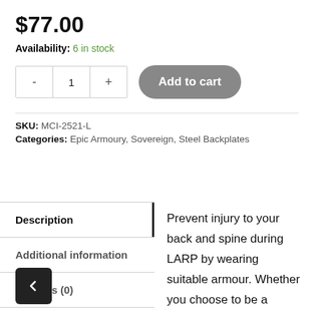$77.00
Availability: 6 in stock
Add to cart (quantity control with - 1 + and Add to cart button)
SKU: MCI-2521-L
Categories: Epic Armoury, Sovereign, Steel Backplates
Description
Additional information
Reviews (0)
Prevent injury to your back and spine during LARP by wearing suitable armour. Whether you choose to be a warrior from a fantasy realm or a Templar knight, the